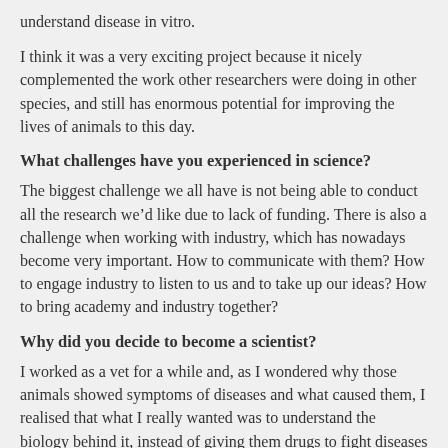understand disease in vitro.
I think it was a very exciting project because it nicely complemented the work other researchers were doing in other species, and still has enormous potential for improving the lives of animals to this day.
What challenges have you experienced in science?
The biggest challenge we all have is not being able to conduct all the research we’d like due to lack of funding. There is also a challenge when working with industry, which has nowadays become very important. How to communicate with them? How to engage industry to listen to us and to take up our ideas? How to bring academy and industry together?
Why did you decide to become a scientist?
I worked as a vet for a while and, as I wondered why those animals showed symptoms of diseases and what caused them, I realised that what I really wanted was to understand the biology behind it, instead of giving them drugs to fight diseases without exactly knowing why. That’s how I decided to become a scientist!
If you weren’t a scientist, what would you be?
As a child, I wanted to work in Africa, treating animals or trying to